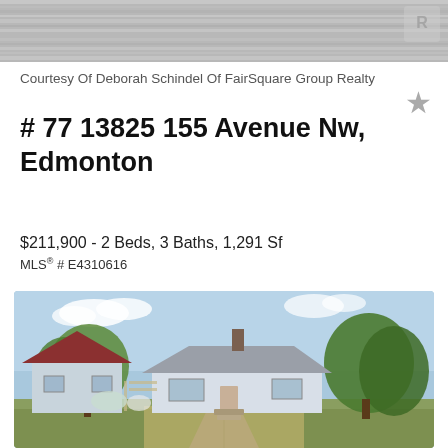[Figure (photo): Top partial photo of a property exterior, showing horizontal siding texture in grey tones with a RE/MAX logo watermark in upper right corner]
Courtesy Of Deborah Schindel Of FairSquare Group Realty
# 77 13825 155 Avenue Nw, Edmonton
$211,900 - 2 Beds, 3 Baths, 1,291 Sf
MLS® # E4310616
[Figure (photo): Exterior photo of a small white bungalow-style house with grey roof, brick chimney, front steps, and a concrete pathway through a lawn. Trees visible on both sides. Blue sky with clouds in background.]